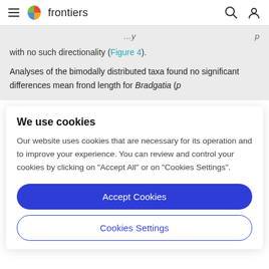frontiers
with no such directionality (Figure 4).
Analyses of the bimodally distributed taxa found no significant differences mean frond length for Bradgatia (p
We use cookies
Our website uses cookies that are necessary for its operation and to improve your experience. You can review and control your cookies by clicking on "Accept All" or on "Cookies Settings".
Accept Cookies
Cookies Settings